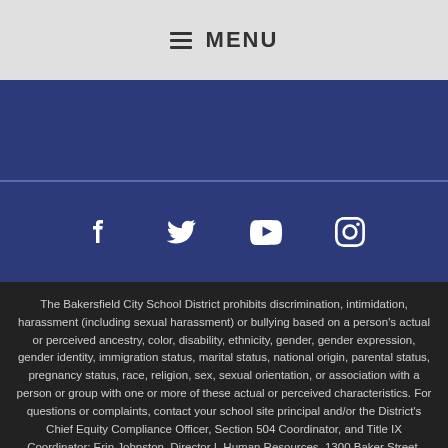☰ MENU
[Figure (other): Blue banner/header area for Bakersfield City School District website]
[Figure (other): Social media icons bar with Facebook, Twitter, YouTube, and Instagram icons on dark blue background]
The Bakersfield City School District prohibits discrimination, intimidation, harassment (including sexual harassment) or bullying based on a person's actual or perceived ancestry, color, disability, ethnicity, gender, gender expression, gender identity, immigration status, marital status, national origin, parental status, pregnancy status, race, religion, sex, sexual orientation, or association with a person or group with one or more of these actual or perceived characteristics. For questions or complaints, contact your school site principal and/or the District's Chief Equity Compliance Officer, Section 504 Coordinator, and Title IX Coordinator: Erin Johnston, Director I, Human Resources, 1300 Baker Street, Bakersfield, CA 93305, (661) 631-4663, johnstone@bcsd.com, El Distrito Escolar de